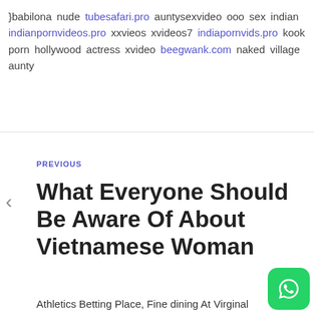}babilona nude tubesafari.pro auntysexvideo ooo sex indian indianpornvideos.pro xxvieos xvideos7 indiapornvids.pro kook porn hollywood actress xvideo beegwank.com naked village aunty
PREVIOUS
What Everyone Should Be Aware Of About Vietnamese Woman
Athletics Betting Place, Fine dining At Virginal